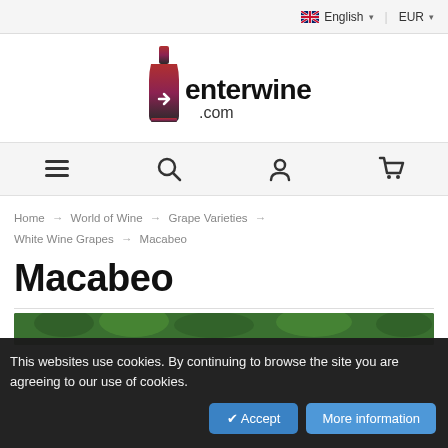English  EUR
[Figure (logo): enterwine.com logo with wine bottle icon in red-to-dark gradient above arrow symbol, text reads 'enterwine.com']
[Figure (infographic): Navigation bar with hamburger menu, search, user account, and shopping cart icons]
Home → World of Wine → Grape Varieties → White Wine Grapes → Macabeo
Macabeo
[Figure (photo): Partial photo of green grapevines/vineyard]
This websites use cookies. By continuing to browse the site you are agreeing to our use of cookies.